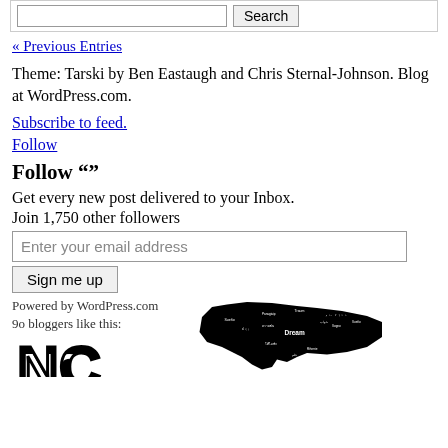Search [input] [Search button]
« Previous Entries
Theme: Tarski by Ben Eastaugh and Chris Sternal-Johnson. Blog at WordPress.com.
Subscribe to feed.
Follow
Follow ""
Get every new post delivered to your Inbox.
Join 1,750 other followers
Enter your email address [input]
Sign me up [button]
Powered by WordPress.com
9o bloggers like this:
[Figure (logo): NC block letters logo in black and white]
[Figure (illustration): Black silhouette map of North Carolina with dream/sueño and other multilingual words]